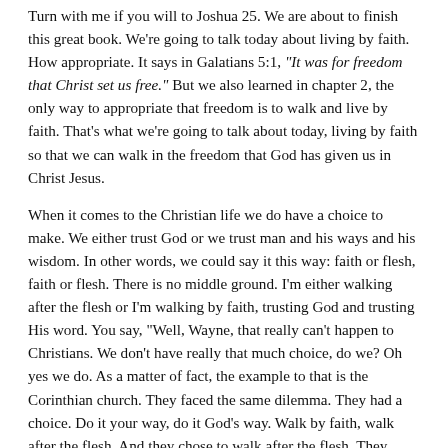Turn with me if you will to Joshua 25. We are about to finish this great book. We're going to talk today about living by faith. How appropriate. It says in Galatians 5:1, "It was for freedom that Christ set us free." But we also learned in chapter 2, the only way to appropriate that freedom is to walk and live by faith. That's what we're going to talk about today, living by faith so that we can walk in the freedom that God has given us in Christ Jesus.
When it comes to the Christian life we do have a choice to make. We either trust God or we trust man and his ways and his wisdom. In other words, we could say it this way: faith or flesh, faith or flesh. There is no middle ground. I'm either walking after the flesh or I'm walking by faith, trusting God and trusting His word. You say, "Well, Wayne, that really can't happen to Christians. We don't have really that much choice, do we? Oh yes we do. As a matter of fact, the example to that is the Corinthian church. They faced the same dilemma. They had a choice. Do it your way, do it God's way. Walk by faith, walk after the flesh. And they chose to walk after the flesh. They failed that test miserably. They would rather do it man's way. They'd rather cling to man's wisdom than to God's Word and His wisdom.
So the apostle Paul had to write, because it caused all kinds of problems within the church, and he had to write the epistle of 1